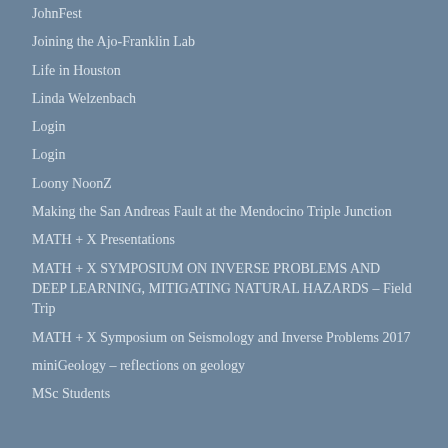JohnFest
Joining the Ajo-Franklin Lab
Life in Houston
Linda Welzenbach
Login
Login
Loony NoonZ
Making the San Andreas Fault at the Mendocino Triple Junction
MATH + X Presentations
MATH + X SYMPOSIUM ON INVERSE PROBLEMS AND DEEP LEARNING, MITIGATING NATURAL HAZARDS – Field Trip
MATH + X Symposium on Seismology and Inverse Problems 2017
miniGeology – reflections on geology
MSc Students